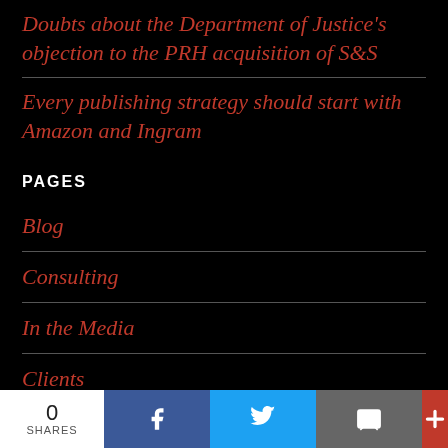Doubts about the Department of Justice's objection to the PRH acquisition of S&S
Every publishing strategy should start with Amazon and Ingram
PAGES
Blog
Consulting
In the Media
Clients
About Us
0 SHARES | Facebook | Twitter | Email | +